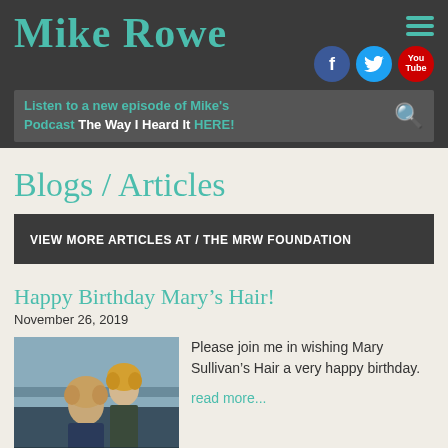Mike Rowe
Listen to a new episode of Mike's Podcast The Way I Heard It HERE!
Blogs / Articles
VIEW MORE ARTICLES AT / THE MRW FOUNDATION
Happy Birthday Mary's Hair!
November 26, 2019
[Figure (photo): Two people in a workshop or barn setting, one with curly hair standing behind the other]
Please join me in wishing Mary Sullivan's Hair a very happy birthday.
read more...